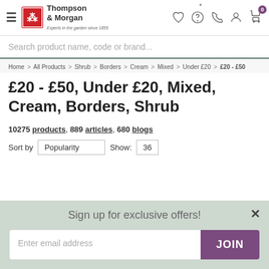Thompson & Morgan — Experts in the garden since 1855
Search product name, code or brand...
Home > All Products > Shrub > Borders > Cream > Mixed > Under £20 > £20 - £50
£20 - £50, Under £20, Mixed, Cream, Borders, Shrub
10275 products, 889 articles, 680 blogs
Sort by Popularity  Show: 36
Sign up for exclusive offers!
Enter email address  JOIN